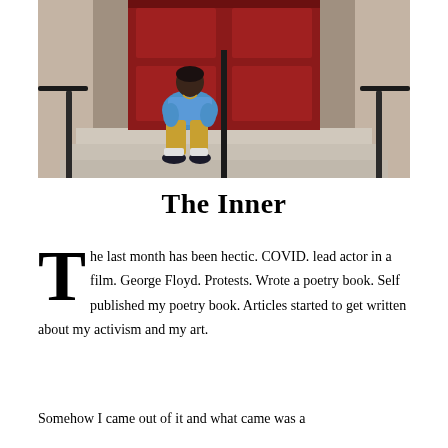[Figure (photo): A young man sitting on stone steps in front of a red door, wearing a blue t-shirt, yellow pants, and black sneakers]
The Inner
The last month has been hectic. COVID. lead actor in a film. George Floyd. Protests. Wrote a poetry book. Self published my poetry book. Articles started to get written about my activism and my art.
Somehow I came out of it and what came was a